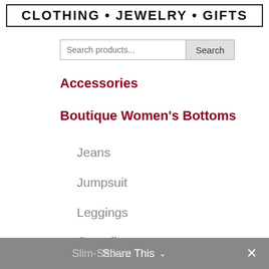CLOTHING • JEWELRY • GIFTS
Search products...
Accessories
Boutique Women's Bottoms
Jeans
Jumpsuit
Leggings
Overalls
Pants
Shorts
Slim-Sation
Share This ∨  ✕